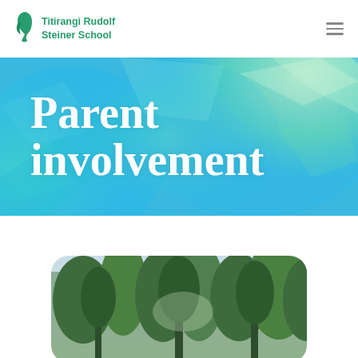Titirangi Rudolf Steiner School
Parent involvement
[Figure (photo): Forest with tall trees, green foliage, rounded corners]